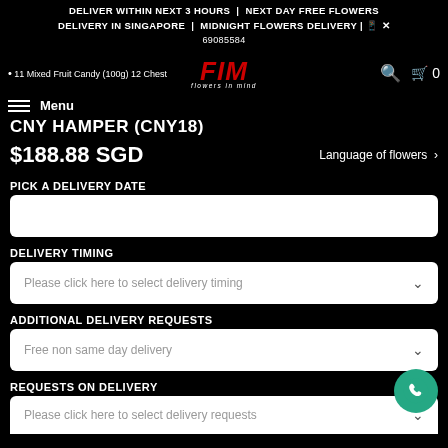DELIVER WITHIN NEXT 3 HOURS | NEXT DAY FREE FLOWERS DELIVERY IN SINGAPORE | MIDNIGHT FLOWERS DELIVERY | 📱 ✕
69085584
• 11 Mixed Fruit Candy (100g) 12 Chest
[Figure (logo): FIM - Flowers in Mind red italic logo]
Menu
🔍  🛒 0
CNY HAMPER (CNY18)
$188.88 SGD
Language of flowers >
PICK A DELIVERY DATE
DELIVERY TIMING
Please click here to select delivery timing
ADDITIONAL DELIVERY REQUESTS
Free non same day delivery
REQUESTS ON DELIVERY
Please click here to select delivery requests